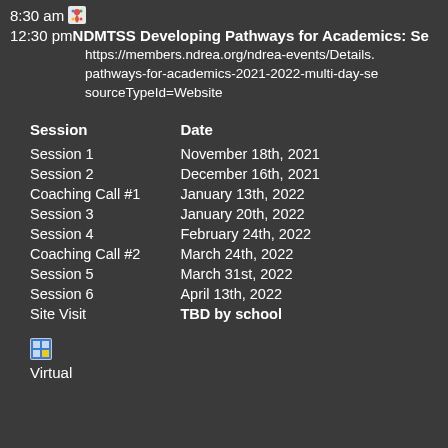8:30 am
12:30 pm NDMTSS Developing Pathways for Academics: Se
https://members.ndrea.org/ndrea-events/Details.
pathways-for-academics-2021-2022-multi-day-se
sourceTypeId=Website
| Session | Date |
| --- | --- |
| Session 1 | November 18th, 2021 |
| Session 2 | December 16th, 2021 |
| Coaching Call #1 | January 13th, 2022 |
| Session 3 | January 20th, 2022 |
| Session 4 | February 24th, 2022 |
| Coaching Call #2 | March 24th, 2022 |
| Session 5 | March 31st, 2022 |
| Session 6 | April 13th, 2022 |
| Site Visit | TBD by school |
[Figure (other): Small calendar/event icon]
Virtual